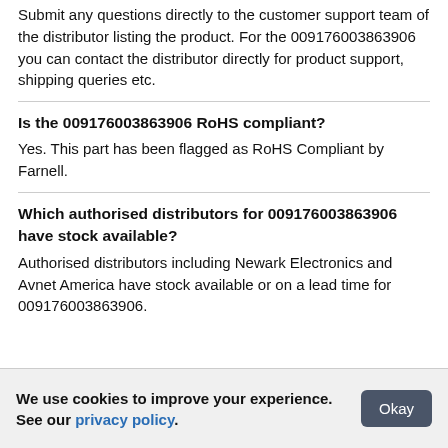Submit any questions directly to the customer support team of the distributor listing the product. For the 009176003863906 you can contact the distributor directly for product support, shipping queries etc.
Is the 009176003863906 RoHS compliant?
Yes. This part has been flagged as RoHS Compliant by Farnell.
Which authorised distributors for 009176003863906 have stock available?
Authorised distributors including Newark Electronics and Avnet America have stock available or on a lead time for 009176003863906.
We use cookies to improve your experience. See our privacy policy.